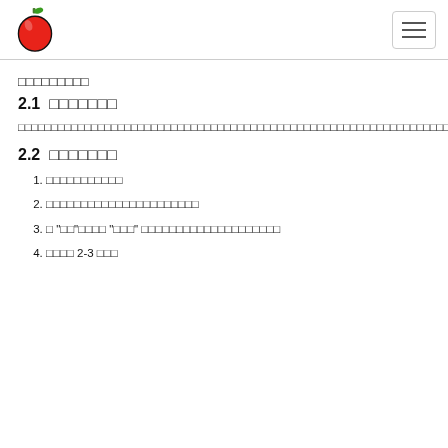[logo apple] [hamburger menu]
□□□□□□□□□
2.1 □□□□□□□
□□□□□□□□□□□□□□□□□□□□□□□□□□□□□□□□□□□□□□□□□□□□□□□□□□□□□□□□□□□□□□□□□□□□□□□□□□□□□□□□□□□□□□□□□□□□□□□□□□□□□□□□□□□□□□□□□□□□□□□□□□□□□□□□□□□□□□□□□□□□□□□□□□□□□□□□□□□□□□□□□□□□□□□□□□
2.2 □□□□□□□
□□□□□□□□□□□
□□□□□□□□□□□□□□□□□□□□□□
□ "□□"□□□□ "□□□" □□□□□□□□□□□□□□□□□□□□
□□□□ 2-3 □□□